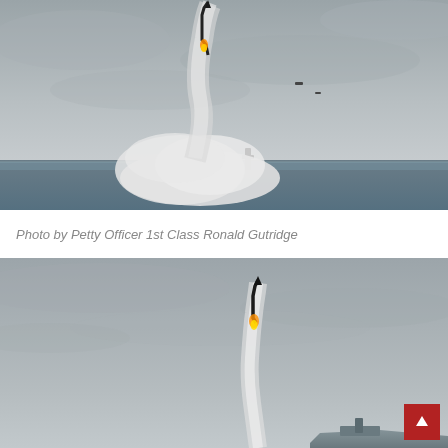[Figure (photo): Missile launching from a submarine at sea, with large white smoke plume rising from the water surface. Overcast gray sky in the background, ocean water visible at the horizon.]
Photo by Petty Officer 1st Class Ronald Gutridge
[Figure (photo): Second photo of a missile launching, closer view showing the missile ascending with exhaust trail against a gray overcast sky, with the launch vessel partially visible at the bottom right.]